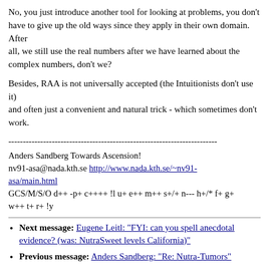No, you just introduce another tool for looking at problems, you don't have to give up the old ways since they apply in their own domain. After all, we still use the real numbers after we have learned about the complex numbers, don't we?
Besides, RAA is not universally accepted (the Intuitionists don't use it) and often just a convenient and natural trick - which sometimes don't work.
------------------------------------------------------------------------
Anders Sandberg Towards Ascension!
nv91-asa@nada.kth.se http://www.nada.kth.se/~nv91-asa/main.html
GCS/M/S/O d++ -p+ c++++ !l u+ e++ m++ s+/+ n--- h+/* f+ g+ w++ t+ r+ !y
Next message: Eugene Leitl: "FYI: can you spell anecdotal evidence? (was: NutraSweet levels California)"
Previous message: Anders Sandberg: "Re: Nutra-Tumors"